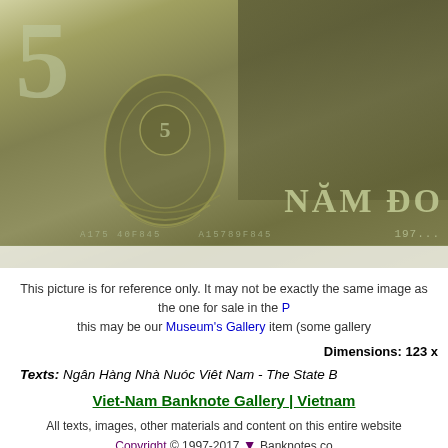[Figure (photo): Close-up photograph of a Vietnamese banknote (5 Dong) showing the reverse side with ornate designs, the large numeral 5, decorative flourishes, text 'NAM DO' (Năm Đồng), serial numbers, and a scene with a figure. Year visible: 197x.]
This picture is for reference only. It may not be exactly the same image as the one for sale in the P... this may be our Museum's Gallery item (some gallery...
Dimensions: 123 x
Texts: Ngân Hàng Nhà Nuóc Viêt Nam - The State B...
Viet-Nam Banknote Gallery | Vietnam...
All texts, images, other materials and content on this entire website... Copyright © 1997-2017 ▼ Banknotes.co...